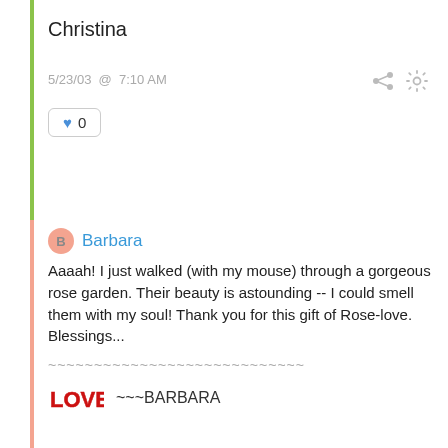Christina
5/23/03 @ 7:10 AM
0
Barbara
Aaaah! I just walked (with my mouse) through a gorgeous rose garden. Their beauty is astounding -- I could smell them with my soul! Thank you for this gift of Rose-love. Blessings...
~~~~~~~~~~~~~~~~~~~~~~~~~~~~
~~~BARBARA